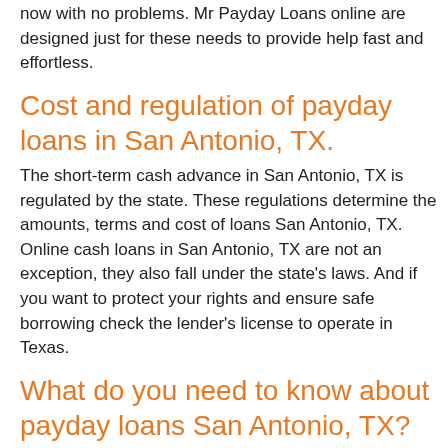now with no problems. Mr Payday Loans online are designed just for these needs to provide help fast and effortless.
Cost and regulation of payday loans in San Antonio, TX.
The short-term cash advance in San Antonio, TX is regulated by the state. These regulations determine the amounts, terms and cost of loans San Antonio, TX. Online cash loans in San Antonio, TX are not an exception, they also fall under the state's laws. And if you want to protect your rights and ensure safe borrowing check the lender's license to operate in Texas.
What do you need to know about payday loans San Antonio, TX?
To get the best service with lower rates and more affordable terms you should understand all the details of